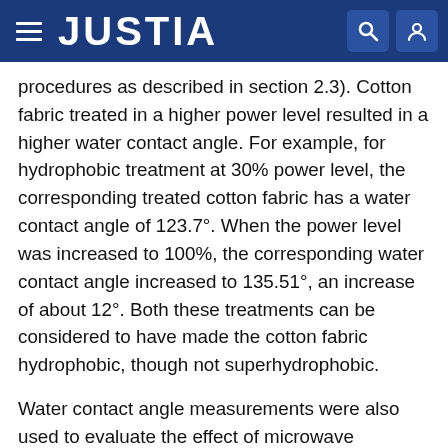JUSTIA
procedures as described in section 2.3). Cotton fabric treated in a higher power level resulted in a higher water contact angle. For example, for hydrophobic treatment at 30% power level, the corresponding treated cotton fabric has a water contact angle of 123.7°. When the power level was increased to 100%, the corresponding water contact angle increased to 135.51°, an increase of about 12°. Both these treatments can be considered to have made the cotton fabric hydrophobic, though not superhydrophobic.
Water contact angle measurements were also used to evaluate the effect of microwave treatment time for cotton fabrics treated at 100% power level. The corresponding water contact angles are shown in FIG. 42B. When the microwave treatment was carried out for 3 min the treatment resulted in a hydrophobic cotton